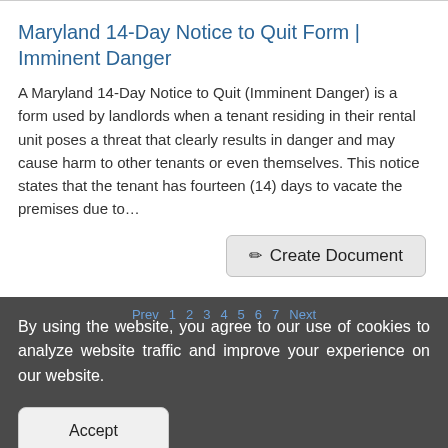Maryland 14-Day Notice to Quit Form | Imminent Danger
A Maryland 14-Day Notice to Quit (Imminent Danger) is a form used by landlords when a tenant residing in their rental unit poses a threat that clearly results in danger and may cause harm to other tenants or even themselves. This notice states that the tenant has fourteen (14) days to vacate the premises due to…
By using the website, you agree to our use of cookies to analyze website traffic and improve your experience on our website.